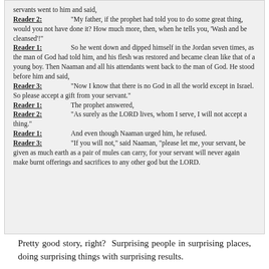servants went to him and said,
Reader 2: "My father, if the prophet had told you to do some great thing, would you not have done it? How much more, then, when he tells you, 'Wash and be cleansed'!"
Reader 1: So he went down and dipped himself in the Jordan seven times, as the man of God had told him, and his flesh was restored and became clean like that of a young boy. Then Naaman and all his attendants went back to the man of God. He stood before him and said,
Reader 3: "Now I know that there is no God in all the world except in Israel. So please accept a gift from your servant."
Reader 1: The prophet answered,
Reader 2: "As surely as the LORD lives, whom I serve, I will not accept a thing."
Reader 1: And even though Naaman urged him, he refused.
Reader 3: "If you will not," said Naaman, "please let me, your servant, be given as much earth as a pair of mules can carry, for your servant will never again make burnt offerings and sacrifices to any other god but the LORD.
Pretty good story, right? Surprising people in surprising places, doing surprising things with surprising results.